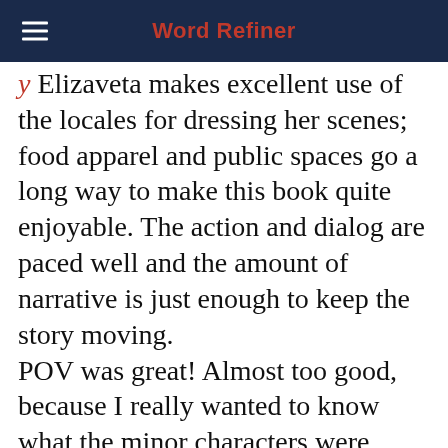Word Refiner
Elizaveta makes excellent use of the locales for dressing her scenes; food apparel and public spaces go a long way to make this book quite enjoyable. The action and dialog are paced well and the amount of narrative is just enough to keep the story moving.
POV was great! Almost too good, because I really wanted to know what the minor characters were thinking at times.
The minor characters like in this book...